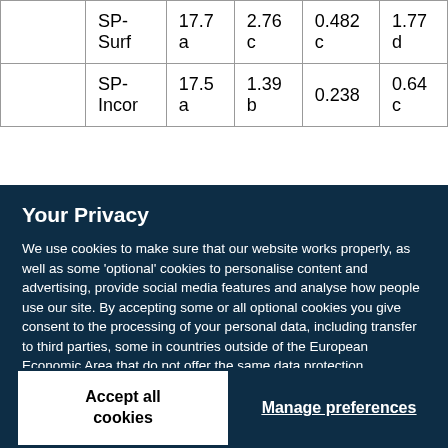|  | SP-Surf | 17.7 a | 2.76 c | 0.482 c | 1.77 d |
|  | SP-Incor | 17.5 a | 1.39 b | 0.238 | 0.64 c |
Your Privacy
We use cookies to make sure that our website works properly, as well as some 'optional' cookies to personalise content and advertising, provide social media features and analyse how people use our site. By accepting some or all optional cookies you give consent to the processing of your personal data, including transfer to third parties, some in countries outside of the European Economic Area that do not offer the same data protection standards as the country where you live. You can decide which optional cookies to accept by clicking on 'Manage Settings', where you can also find more information about how your personal data is processed. Further information can be found in our privacy policy.
Accept all cookies
Manage preferences